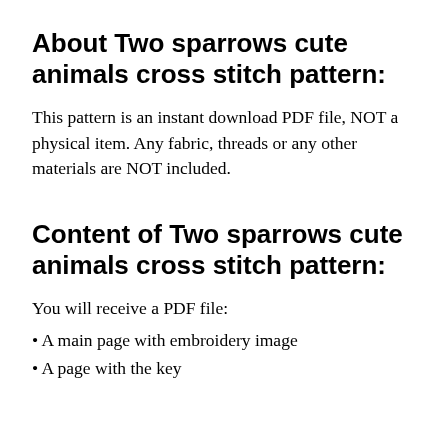About Two sparrows cute animals cross stitch pattern:
This pattern is an instant download PDF file, NOT a physical item. Any fabric, threads or any other materials are NOT included.
Content of Two sparrows cute animals cross stitch pattern:
You will receive a PDF file:
A main page with embroidery image
A page with the key